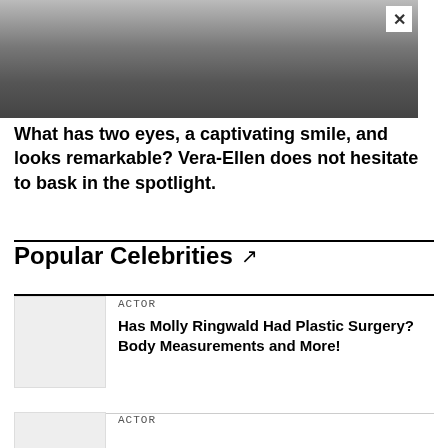[Figure (photo): Black and white photo of Vera-Ellen showing head and shoulders, smiling]
What has two eyes, a captivating smile, and looks remarkable? Vera-Ellen does not hesitate to bask in the spotlight.
Popular Celebrities
ACTOR
Has Molly Ringwald Had Plastic Surgery? Body Measurements and More!
ACTOR